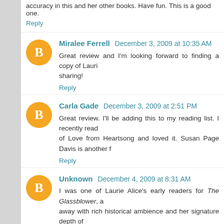accuracy in this and her other books. Have fun. This is a good one.
Reply
Miralee Ferrell  December 3, 2009 at 10:35 AM
Great review and I'm looking forward to finding a copy of Laurie... sharing!
Reply
Carla Gade  December 3, 2009 at 2:51 PM
Great review. I'll be adding this to my reading list. I recently read ... of Love from Heartsong and loved it. Susan Page Davis is another f...
Reply
Unknown  December 4, 2009 at 8:31 AM
I was one of Laurie Alice's early readers for The Glassblower, a... away with rich historical ambience and her signature depth of ... Grassick is ever so yummy. This review makes me want to read the...
Reply